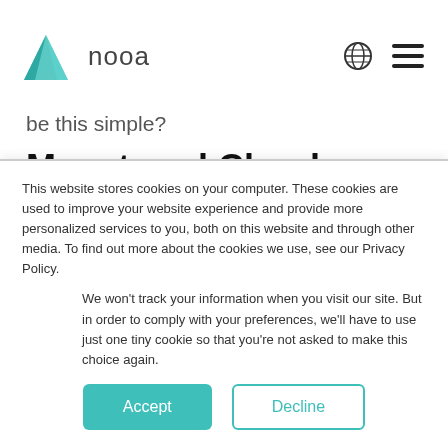nooa [logo with globe and menu icons]
be this simple?
Megatrend Cloud
Today, the "cloud" offers new possibilities. It allows customers to focus on their core business, without
This website stores cookies on your computer. These cookies are used to improve your website experience and provide more personalized services to you, both on this website and through other media. To find out more about the cookies we use, see our Privacy Policy.
We won't track your information when you visit our site. But in order to comply with your preferences, we'll have to use just one tiny cookie so that you're not asked to make this choice again.
Accept
Decline